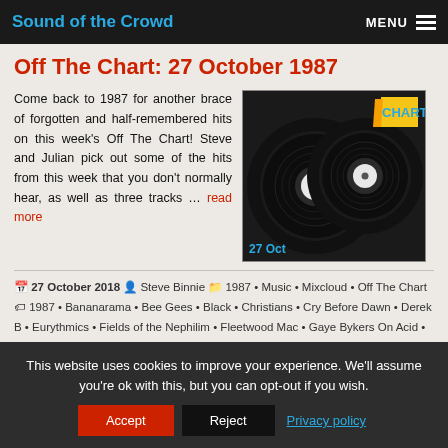Sound of the Crowd | MENU
Off The Chart: 27 October 1987
Come back to 1987 for another brace of forgotten and half-remembered hits on this week's Off The Chart! Steve and Julian pick out some of the hits from this week that you don't normally hear, as well as three tracks … read more
[Figure (photo): Two vinyl records with white labels overlapping, with a yellow 'CHART' logo in top right and '27 Oct' text in bottom left corner]
27 October 2018  Steve Binnie  1987 • Music • Mixcloud • Off The Chart  1987 • Bananarama • Bee Gees • Black • Christians • Cry Before Dawn • Derek B • Eurythmics • Fields of the Nephilim • Fleetwood Mac • Gaye Bykers On Acid • George Michael • Jan Hammer • Lisa Lisa & Cult Jam • Men
This website uses cookies to improve your experience. We'll assume you're ok with this, but you can opt-out if you wish.
Accept | Reject | Privacy policy